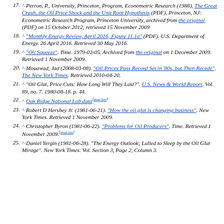17. ^ Perron, P., University, Princeton, Program, Econometric Research (1988), The Great Crash, the Oil Price Shock and the Unit Root Hypothesis (PDF), Princeton, NJ: Econometric Research Program, Princeton University, archived from the original (PDF) on 15 October 2012, retrieved 15 November 2009
18. ^ "Monthly Energy Review, April 2016, Figure 11.1a" (PDF). U.S. Department of Energy. 26 April 2016. Retrieved 30 May 2016.
19. ^ "Oil Squeeze". Time. 1979-02-05. Archived from the original on 1 December 2009. Retrieved 1 November 2009.
20. ^ Mouawad, Jad (2008-03-08). "Oil Prices Pass Record Set in '80s, but Then Recede". The New York Times. Retrieved 2010-04-20.
21. ^ "Oil Glut, Price Cuts: How Long Will They Last?". U.S. News & World Report. Vol. 89, no. 7. 1980-08-18. p. 44.
22. ^ Oak Ridge National Lab data [dead link]
23. ^ Robert D Hershey Jr. (1981-06-21). "How the oil glut is changing business". New York Times. Retrieved 1 November 2009.
24. ^ Christopher Byron (1981-06-22). "Problems for Oil Producers". Time. Retrieved 1 November 2009. [dead link]
25. ^ Daniel Yergin (1981-06-28). "The Energy Outlook; Lulled to Sleep by the Oil Glut Mirage". New York Times. Vol. Section 3, Page 2, Column 3.